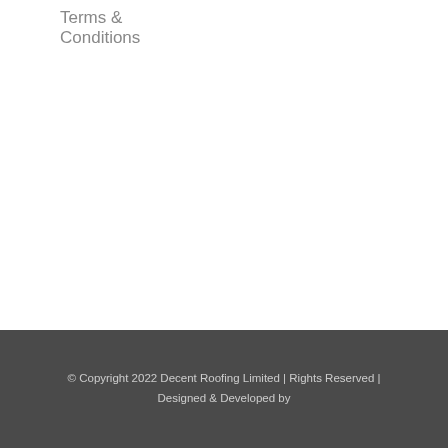Terms & Conditions
© Copyright 2022 Decent Roofing Limited | Rights Reserved | Designed & Developed by